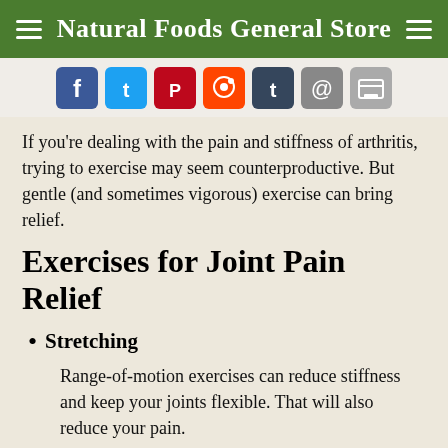Natural Foods General Store
[Figure (other): Social sharing icons: Facebook, Twitter, Pinterest, Reddit, Tumblr, Email, Print]
If you're dealing with the pain and stiffness of arthritis, trying to exercise may seem counterproductive. But gentle (and sometimes vigorous) exercise can bring relief.
Exercises for Joint Pain Relief
Stretching
Range-of-motion exercises can reduce stiffness and keep your joints flexible. That will also reduce your pain.
Here are three basic stretches. Hold each for 10 to 20 seconds and repeat a few times.